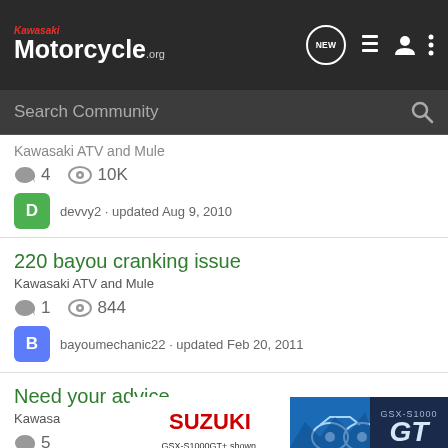Kawasaki Motorcycle.org
Search Community
Kawasaki ATV and Mule · 4 replies · 10K views · devvy2 · updated Aug 9, 2010
220 bayou cranking issue
Kawasaki ATV and Mule
1 replies · 844 views · bayoumechanic22 · updated Feb 20, 2011
Need your advice...
Kawasa
5 replies
[Figure (advertisement): Suzuki GSX-S1000GT advertisement with motorcycle image and GT logo, text: SUZUKI, GSX-S1000GT+ shown., SEE IT NOW >>]